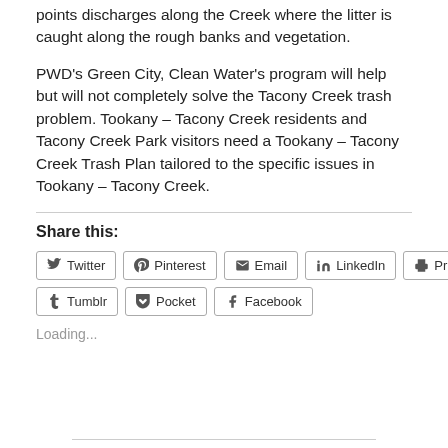points discharges along the Creek where the litter is caught along the rough banks and vegetation.
PWD’s Green City, Clean Water’s program will help but will not completely solve the Tacony Creek trash problem. Tookany – Tacony Creek residents and Tacony Creek Park visitors need a Tookany – Tacony Creek Trash Plan tailored to the specific issues in Tookany – Tacony Creek.
Share this:
Twitter  Pinterest  Email  LinkedIn  Print  Tumblr  Pocket  Facebook
Loading...